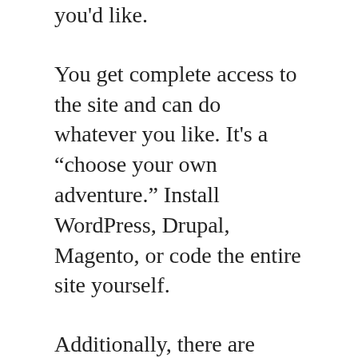you'd like.
You get complete access to the site and can do whatever you like. It's a “choose your own adventure.” Install WordPress, Drupal, Magento, or code the entire site yourself.
Additionally, there are managed web hosts. They customize the hosting environment and take care of a lot more of it for you.
WP Engine is the best example, it’s a managed host that supports WordPress. Instead of an account with cPanel that allows me do whatever I want, WP Engine gives me an account to their customized interface, designed for managing WordPress sites